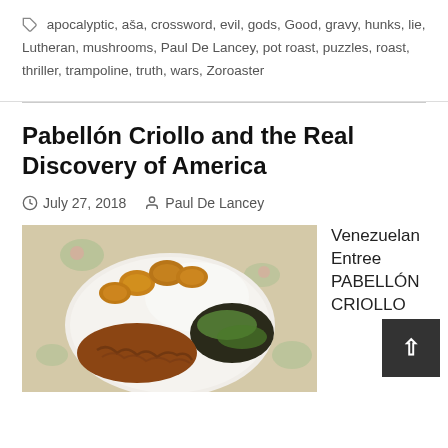🏷 apocalyptic, aša, crossword, evil, gods, Good, gravy, hunks, lie, Lutheran, mushrooms, Paul De Lancey, pot roast, puzzles, roast, thriller, trampoline, truth, wars, Zoroaster
Pabellón Criollo and the Real Discovery of America
July 27, 2018    Paul De Lancey
[Figure (photo): Photo of a plate of Pabellón Criollo with rice, black beans, shredded beef, and fried plantains on a floral tablecloth]
Venezuelan Entree PABELLÓN CRIOLLO